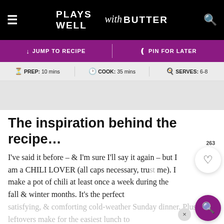PLAYS WELL with BUTTER
↓ JUMP TO RECIPE | ♟ PIN FOR LATER
⏱ PREP: 10 mins | 🍳 COOK: 35 mins | 🍽 SERVES: 6-8
The inspiration behind the recipe…
I've said it before – & I'm sure I'll say it again – but I am a CHILI LOVER (all caps necessary, trust me). I make a pot of chili at least once a week during the fall & winter months. It's the perfect satisfying, & comforting cold-weather Sunday dinner. Plus, leftovers make for the easiest lunch to